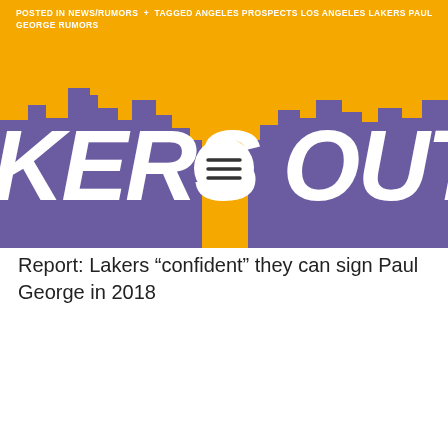POSTED IN NEWS/RUMORS + TAGGED ANGELES PROSPECTS LOS ANGELES LAKERS PAUL GEORGE RUMORS
[Figure (logo): Lakers Outside the Arc website banner with gold background, purple city skyline silhouette, and site name text in white italic bold letters reading KERS OUTSIDE with a circular menu icon overlay]
PREV
Report: Lakers “confident” they can sign Paul George in 2018